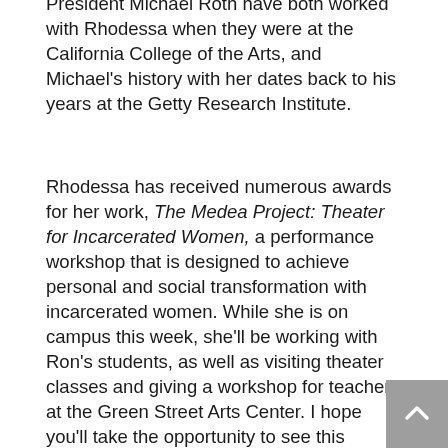President Michael Roth have both worked with Rhodessa when they were at the California College of the Arts, and Michael's history with her dates back to his years at the Getty Research Institute.
Rhodessa has received numerous awards for her work, The Medea Project: Theater for Incarcerated Women, a performance workshop that is designed to achieve personal and social transformation with incarcerated women. While she is on campus this week, she'll be working with Ron's students, as well as visiting theater classes and giving a workshop for teachers at the Green Street Arts Center. I hope you'll take the opportunity to see this extraordinary artist live this Thursday